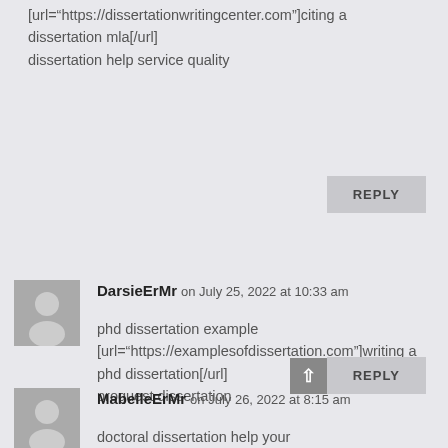[url="https://dissertationwritingcenter.com"]citing a dissertation mla[/url] dissertation help service quality
REPLY
DarsieErMr on July 25, 2022 at 10:33 am
phd dissertation example [url="https://examplesofdissertation.com"]writing a phd dissertation[/url] proquest dissertation
REPLY
MabelleErMr on July 26, 2022 at 8:15 am
doctoral dissertation help your [url="https://helpwithdissertationwritinglondon...